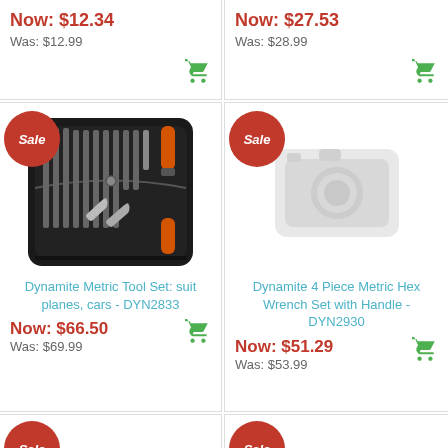Now: $12.34
Was: $12.99
Now: $27.53
Was: $28.99
[Figure (photo): Dynamite Metric Tool Set - DYN2833 product photo showing a black zippered case with screwdrivers, wrenches and bits]
Dynamite Metric Tool Set: suit planes, cars - DYN2833
Now: $66.50
Was: $69.99
[Figure (photo): Dynamite 4 Piece Metric Hex Wrench Set with Handle - DYN2930 - placeholder image (camera icon)]
Dynamite 4 Piece Metric Hex Wrench Set with Handle - DYN2930
Now: $51.29
Was: $53.99
[Figure (photo): Partial product photo, bottom cropped, Sale badge visible]
[Figure (photo): Partial product photo, bottom cropped, Sale badge visible]